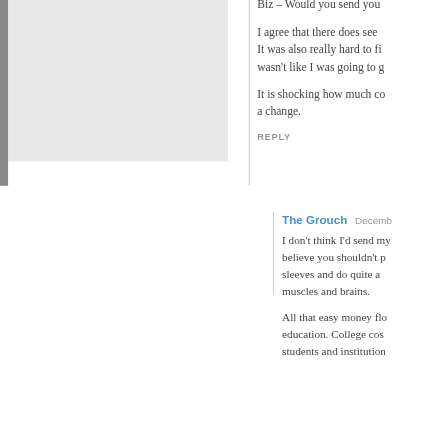Biz – Would you send you...
I agree that there does see... It was also really hard to fi... wasn't like I was going to g...
It is shocking how much co... a change.
REPLY
The Grouch   Decemb...
I don't think I'd send my... believe you shouldn't p... sleeves and do quite a... muscles and brains.
All that easy money flo... education. College cos... students and institution...